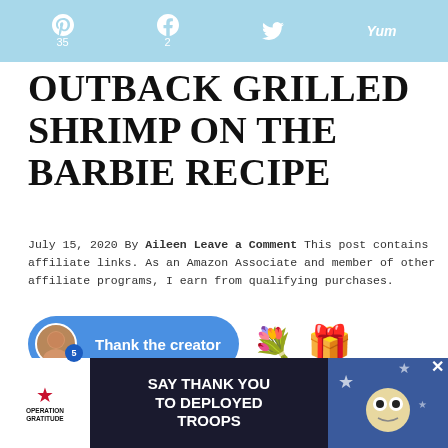Pinterest 35 | Facebook 2 | Twitter | Yum
OUTBACK GRILLED SHRIMP ON THE BARBIE RECIPE
July 15, 2020 By Aileen Leave a Comment This post contains affiliate links. As an Amazon Associate and member of other affiliate programs, I earn from qualifying purchases.
[Figure (other): Thank the creator button with avatar, flower emoji and gift box emoji]
JUMP TO RECIPE
This is a sponsored post written by me on behalf of Safeway. All opinions are 100% mine
[Figure (other): Operation Gratitude advertisement: SAY THANK YOU TO DEPLOYED TROOPS]